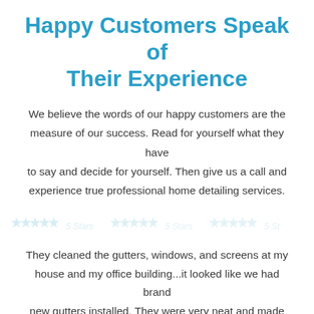Happy Customers Speak of Their Experience
We believe the words of our happy customers are the measure of our success. Read for yourself what they have to say and decide for yourself. Then give us a call and experience true professional home detailing services.
[Figure (illustration): A repeating pattern of faint blue star rating icons across a horizontal band]
They cleaned the gutters, windows, and screens at my house and my office building...it looked like we had brand new gutters installed. They were very neat and made sure to protect our belongings from damage. Highly recommended!